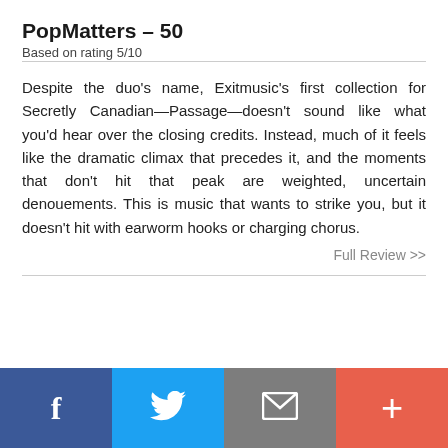PopMatters – 50
Based on rating 5/10
Despite the duo's name, Exitmusic's first collection for Secretly Canadian—Passage—doesn't sound like what you'd hear over the closing credits. Instead, much of it feels like the dramatic climax that precedes it, and the moments that don't hit that peak are weighted, uncertain denouements. This is music that wants to strike you, but it doesn't hit with earworm hooks or charging chorus.
Full Review >>
[Figure (other): Social sharing bar with four buttons: Facebook (blue), Twitter (light blue), Email (gray), Plus/More (red-orange)]